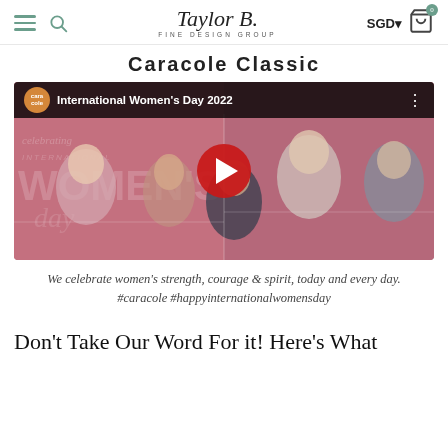Taylor B. Fine Design Group — SGD 0
Caracole Classic
[Figure (screenshot): YouTube video thumbnail for 'International Women's Day 2022' by caracole brand. Shows five women posed against a pink/mauve background with 'INTERNATIONAL WOMEN'S' text overlaid. A red YouTube play button is centered on the image. The caracole logo (orange circle) appears top-left with the video title in the top bar.]
We celebrate women's strength, courage & spirit, today and every day. #caracole #happyinternationalwomensday
Don't Take Our Word For it! Here's What